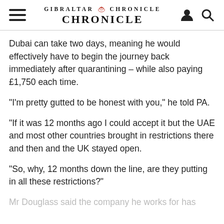GIBRALTAR CHRONICLE
Dubai can take two days, meaning he would effectively have to begin the journey back immediately after quarantining – while also paying £1,750 each time.
“I’m pretty gutted to be honest with you,” he told PA.
“If it was 12 months ago I could accept it but the UAE and most other countries brought in restrictions there and then and the UK stayed open.
“So, why, 12 months down the line, are they putting in all these restrictions?”
Mr Douglass said the company he works for has